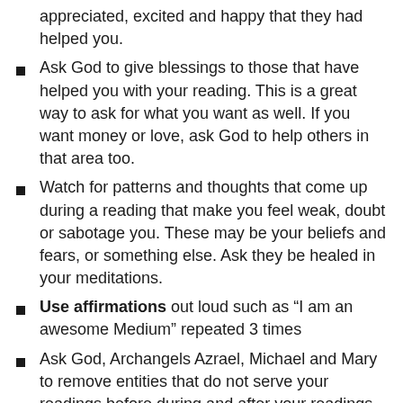appreciated, excited and happy that they had helped you.
Ask God to give blessings to those that have helped you with your reading. This is a great way to ask for what you want as well. If you want money or love, ask God to help others in that area too.
Watch for patterns and thoughts that come up during a reading that make you feel weak, doubt or sabotage you. These may be your beliefs and fears, or something else. Ask they be healed in your meditations.
Use affirmations out loud such as “I am an awesome Medium” repeated 3 times
Ask God, Archangels Azrael, Michael and Mary to remove entities that do not serve your readings before during and after your readings.
I don’t have to tell you to cleanse your